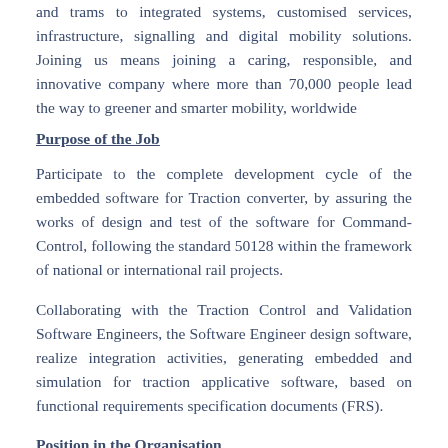and trams to integrated systems, customised services, infrastructure, signalling and digital mobility solutions. Joining us means joining a caring, responsible, and innovative company where more than 70,000 people lead the way to greener and smarter mobility, worldwide
Purpose of the Job
Participate to the complete development cycle of the embedded software for Traction converter, by assuring the works of design and test of the software for Command-Control, following the standard 50128 within the framework of national or international rail projects.
Collaborating with the Traction Control and Validation Software Engineers, the Software Engineer design software, realize integration activities, generating embedded and simulation for traction applicative software, based on functional requirements specification documents (FRS).
Position in the Organisation